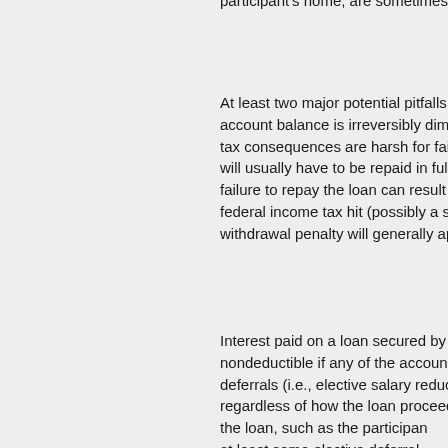participant's home, are sometimes seen).
At least two major potential pitfalls are associated with plan loans. First, the account balance is irreversibly diminished if the loan is not repaid. Second, the tax consequences are harsh for failure to pay back the loan. A plan loan will usually have to be repaid in full soon after the participant leaves the job; failure to repay the loan can result in a deemed distribution, triggering a federal income tax hit (possibly a state income tax hit also), and a 10% early withdrawal penalty will generally apply unless an exception is available.
Interest paid on a loan secured by the participant's plan account balance is nondeductible if any of the account balance used as security consists of elective deferrals (i.e., elective salary reduction contributions made by the participant), regardless of how the loan proceeds are used. If the plan balance securing the loan, such as the participant's account balance, includes what appears to be at least some elective deferral amounts, then the interest on the loan is nondeductible.